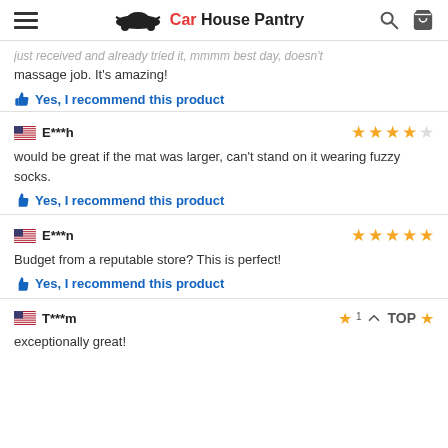Car House Pantry
massage job. It's amazing!
Yes, I recommend this product
E***h — 4 stars — would be great if the mat was larger, can't stand on it wearing fuzzy socks.
Yes, I recommend this product
E***n — 5 stars — Budget from a reputable store? This is perfect!
Yes, I recommend this product
T***m — 1 star — exceptionally great!